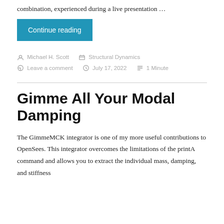combination, experienced during a live presentation …
Continue reading
Michael H. Scott   Structural Dynamics   Leave a comment   July 17, 2022   1 Minute
Gimme All Your Modal Damping
The GimmeMCK integrator is one of my more useful contributions to OpenSees. This integrator overcomes the limitations of the printA command and allows you to extract the individual mass, damping, and stiffness